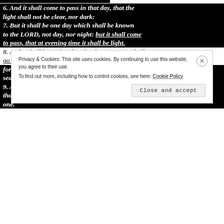6. And it shall come to pass in that day, that the light shall not be clear, nor dark:
7. But it shall be one day which shall be known to the LORD, not day, nor night: but it shall come to pass, that at evening time it shall be light.
8. And it shall be in that day, that living waters shall go out from Jerusalem; half of them toward the former sea, and half of them toward the hinder sea: in summer and in winter shall it be.
9. And the LORD shall be king over all the earth: in that day shall there be one LORD, and his name one.
Privacy & Cookies: This site uses cookies. By continuing to use this website, you agree to their use. To find out more, including how to control cookies, see here: Cookie Policy